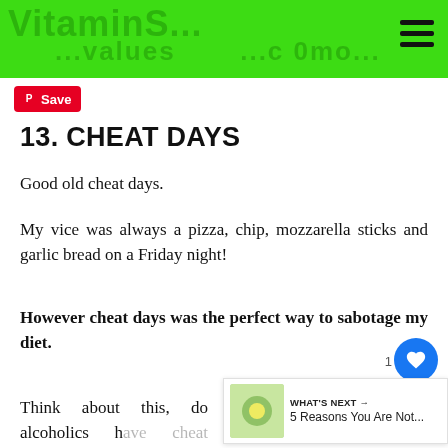VitaminS... values ...c 0mo...
[Figure (screenshot): Pinterest Save button (red background, white text)]
13. CHEAT DAYS
Good old cheat days.
My vice was always a pizza, chip, mozzarella sticks and garlic bread on a Friday night!
However cheat days was the perfect way to sabotage my diet.
Think about this, do alcoholics have cheat days? NO!
[Figure (infographic): What's Next widget showing article preview: 5 Reasons You Are Not...]